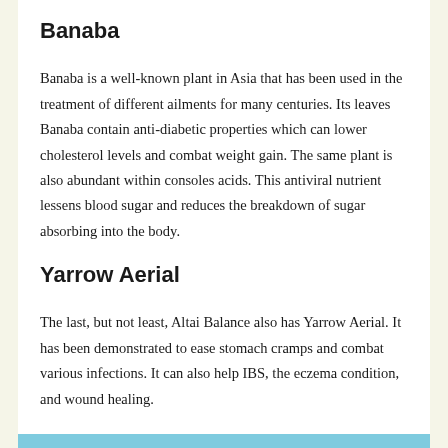Banaba
Banaba is a well-known plant in Asia that has been used in the treatment of different ailments for many centuries. Its leaves Banaba contain anti-diabetic properties which can lower cholesterol levels and combat weight gain. The same plant is also abundant within consoles acids. This antiviral nutrient lessens blood sugar and reduces the breakdown of sugar absorbing into the body.
Yarrow Aerial
The last, but not least, Altai Balance also has Yarrow Aerial. It has been demonstrated to ease stomach cramps and combat various infections. It can also help IBS, the eczema condition, and wound healing.